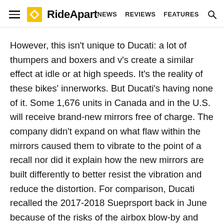RideApart — NEWS  REVIEWS  FEATURES
However, this isn't unique to Ducati: a lot of thumpers and boxers and v's create a similar effect at idle or at high speeds. It's the reality of these bikes' innerworks. But Ducati's having none of it. Some 1,676 units in Canada and in the U.S. will receive brand-new mirrors free of charge. The company didn't expand on what flaw within the mirrors caused them to vibrate to the point of a recall nor did it explain how the new mirrors are built differently to better resist the vibration and reduce the distortion. For comparison, Ducati recalled the 2017-2018 Sueprsport back in June because of the risks of the airbox blow-by and fuel tank overfill hoses of melting and causing a fire. Not exactly the same urgency.